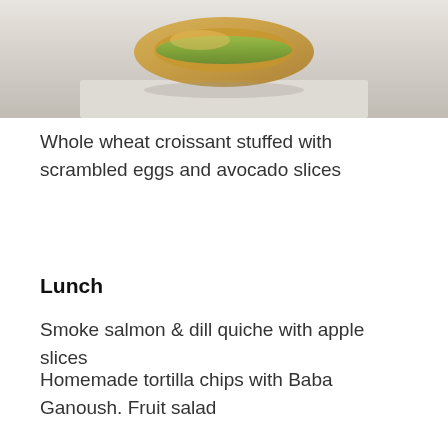[Figure (photo): Photo of a whole wheat croissant stuffed with scrambled eggs and avocado slices, partially visible at top of page]
Whole wheat croissant stuffed with scrambled eggs and avocado slices
Lunch
Smoke salmon & dill quiche with apple slices
Homemade tortilla chips with Baba Ganoush. Fruit salad
Whole wheat croissant sandwich filled with sliced hard-boiled eggs, tomato and avocado slices.
Mediterranean Fish taco – panfried sliced cod, topped with chopped tomatoes and Baba Ganoush